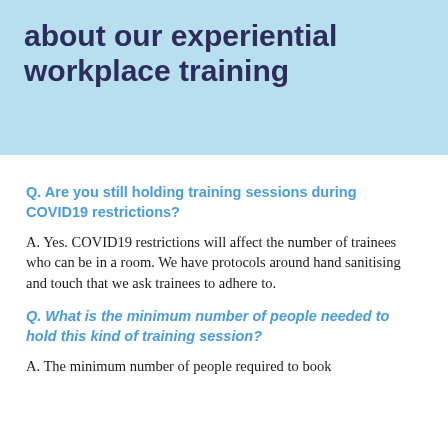about our experiential workplace training
Q. Are you still holding training sessions during COVID19 restrictions?
A. Yes. COVID19 restrictions will affect the number of trainees who can be in a room. We have protocols around hand sanitising and touch that we ask trainees to adhere to.
Q. What is the minimum number of people needed to hold this kind of training session?
A. The minimum number of people required to book